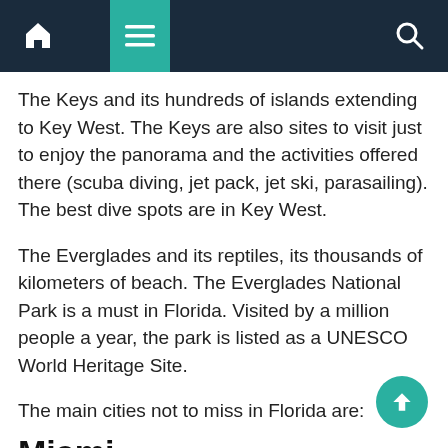Navigation bar with home, menu, and search icons
The Keys and its hundreds of islands extending to Key West. The Keys are also sites to visit just to enjoy the panorama and the activities offered there (scuba diving, jet pack, jet ski, parasailing). The best dive spots are in Key West.
The Everglades and its reptiles, its thousands of kilometers of beach. The Everglades National Park is a must in Florida. Visited by a million people a year, the park is listed as a UNESCO World Heritage Site.
The main cities not to miss in Florida are:
Miami
Located in the southeast of the state of Florida, Miami is an international financial and cultural center. Also not to be missed, Miami Beach, a real seaside resort often compared to the French Riviera for the beauty of its beaches and...